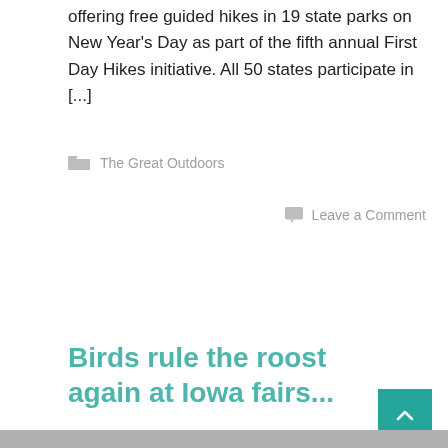offering free guided hikes in 19 state parks on New Year's Day as part of the fifth annual First Day Hikes initiative. All 50 states participate in [...]
The Great Outdoors
Leave a Comment
Read More
Birds rule the roost again at Iowa fairs...
December 29, 2015   Written by Cindy